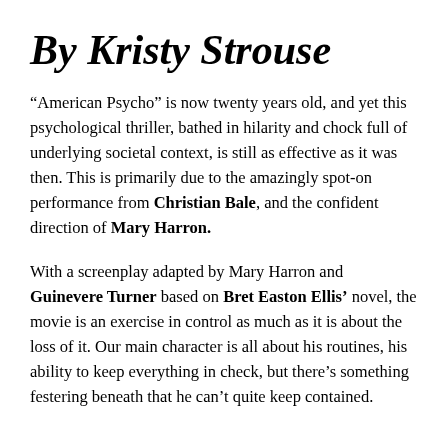By Kristy Strouse
“American Psycho” is now twenty years old, and yet this psychological thriller, bathed in hilarity and chock full of underlying societal context, is still as effective as it was then. This is primarily due to the amazingly spot-on performance from Christian Bale, and the confident direction of Mary Harron.
With a screenplay adapted by Mary Harron and Guinevere Turner based on Bret Easton Ellis’ novel, the movie is an exercise in control as much as it is about the loss of it. Our main character is all about his routines, his ability to keep everything in check, but there’s something festering beneath that he can’t quite keep contained.